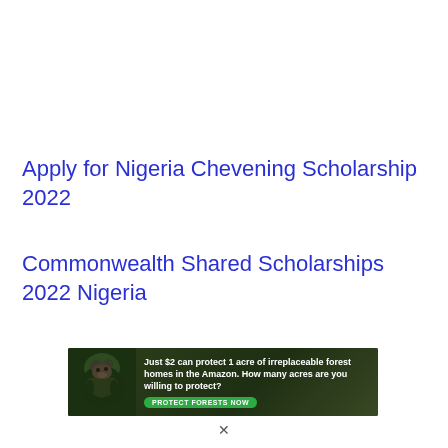Apply for Nigeria Chevening Scholarship 2022
Commonwealth Shared Scholarships 2022 Nigeria
[Figure (infographic): Advertisement banner with forest/Amazon conservation message: 'Just $2 can protect 1 acre of irreplaceable forest homes in the Amazon. How many acres are you willing to protect?' with a green 'PROTECT FORESTS NOW' button and a gorilla/primate image on the left side.]
v